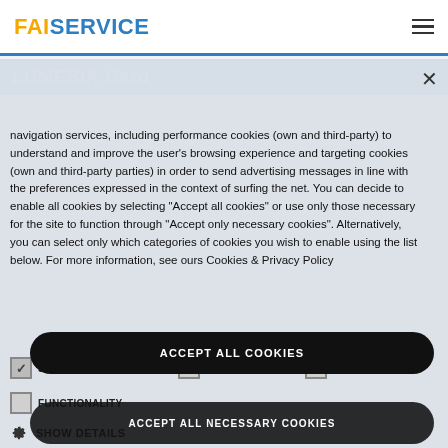FAISERVICE
LUMESIA Card
navigation services, including performance cookies (own and third-party) to understand and improve the user's browsing experience and targeting cookies (own and third-party parties) in order to send advertising messages in line with the preferences expressed in the context of surfing the net. You can decide to enable all cookies by selecting "Accept all cookies" or use only those necessary for the site to function through "Accept only necessary cookies". Alternatively, you can select only which categories of cookies you wish to enable using the list below. For more information, see ours Cookies & Privacy Policy
STRICTLY NECESSARY
PERFORMANCE
TARGETING
FUNCTIONALITY
SHOW DETAILS
ACCEPT ALL COOKIES
ACCEPT ALL NECESSARY COOKIES